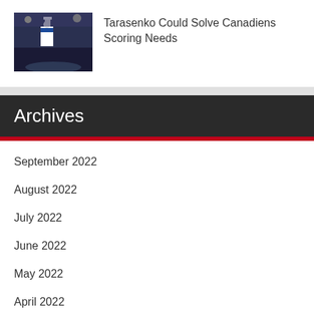[Figure (photo): Hockey player holding the Stanley Cup trophy]
Tarasenko Could Solve Canadiens Scoring Needs
Archives
September 2022
August 2022
July 2022
June 2022
May 2022
April 2022
March 2022